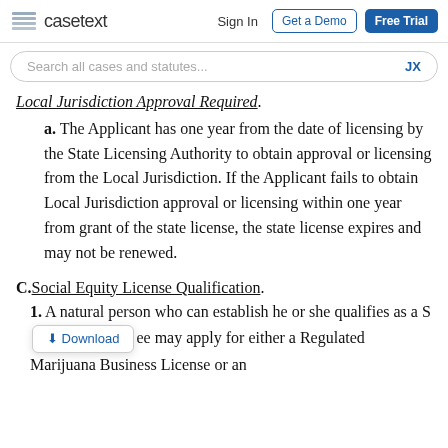casetext | Sign In | Get a Demo | Free Trial
Search all cases and statutes...  JX
Local Jurisdiction Approval Required.
a. The Applicant has one year from the date of licensing by the State Licensing Authority to obtain approval or licensing from the Local Jurisdiction. If the Applicant fails to obtain Local Jurisdiction approval or licensing within one year from grant of the state license, the state license expires and may not be renewed.
C. Social Equity License Qualification.
1. A natural person who can establish he or she qualifies as a Social Equity Licensee may apply for either a Regulated Marijuana Business License or an